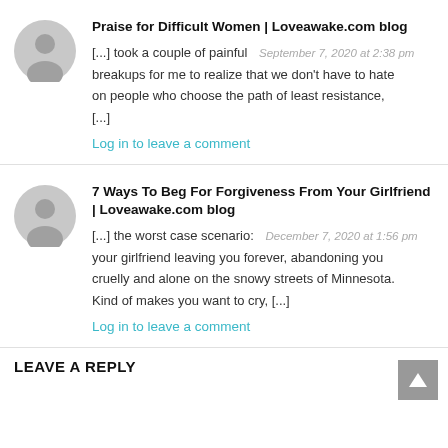Praise for Difficult Women | Loveawake.com blog
[...] took a couple of painful  September 7, 2020 at 2:38 pm breakups for me to realize that we don't have to hate on people who choose the path of least resistance, [...]
Log in to leave a comment
7 Ways To Beg For Forgiveness From Your Girlfriend | Loveawake.com blog
[...] the worst case scenario:  December 7, 2020 at 1:56 pm your girlfriend leaving you forever, abandoning you cruelly and alone on the snowy streets of Minnesota. Kind of makes you want to cry, [...]
Log in to leave a comment
LEAVE A REPLY